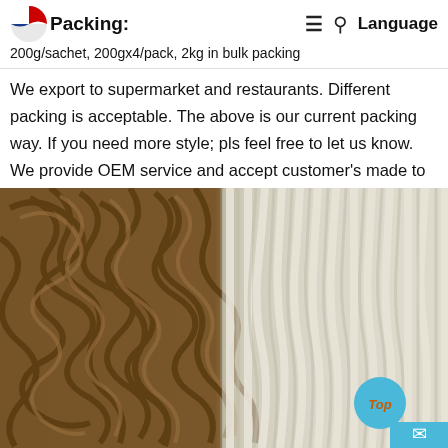≡  🔍  Language
Packing:
200g/sachet, 200gx4/pack, 2kg in bulk packing
We export to supermarket and restaurants. Different packing is acceptable. The above is our current packing way. If you need more style; pls feel free to let us know. We provide OEM service and accept customer's made to order.
[Figure (photo): Close-up photo of two types of noodles side by side: brown/wheat noodles on the left and white noodles on the right]